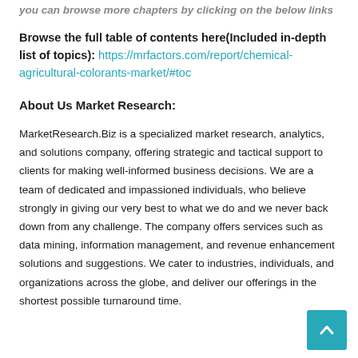you can browse more chapters by clicking on the below links
Browse the full table of contents here(Included in-depth list of topics): https://mrfactors.com/report/chemical-agricultural-colorants-market/#toc
About Us Market Research:
MarketResearch.Biz is a specialized market research, analytics, and solutions company, offering strategic and tactical support to clients for making well-informed business decisions. We are a team of dedicated and impassioned individuals, who believe strongly in giving our very best to what we do and we never back down from any challenge. The company offers services such as data mining, information management, and revenue enhancement solutions and suggestions. We cater to industries, individuals, and organizations across the globe, and deliver our offerings in the shortest possible turnaround time.